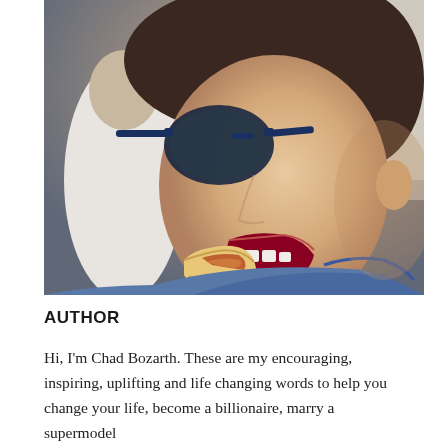[Figure (photo): A man wearing large blue-framed sunglasses and a denim blue shirt biting into a food wrap/burrito with his mouth wide open. Another person in a white shirt is partially visible behind him on the left.]
AUTHOR
Hi, I'm Chad Bozarth. These are my encouraging, inspiring, uplifting and life changing words to help you change your life, become a billionaire, marry a supermodel